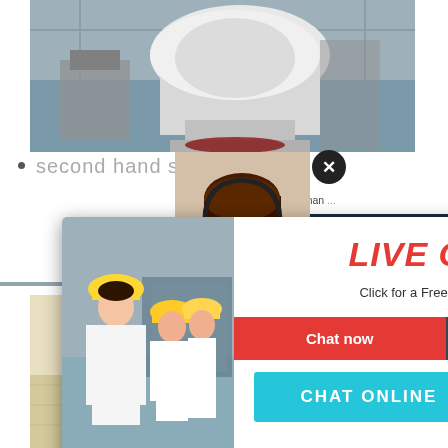[Figure (photo): Industrial machinery in a factory setting — large white stone crusher machine]
second hand stone cru
German ... stone c... machi... germany, used german machineslinkedin we are a l...
[Figure (screenshot): Live chat popup overlay with workers wearing hard hats, LIVE CHAT heading in red, 'Click for a Free Consultation' subtitle, Chat now and Chat later buttons, and CHAT ONLINE button in cyan]
[Figure (photo): Customer service woman wearing headset on right side]
ave any requests, click here.
Quotation
Enquiry
limingjlmofen@sina.com
[Figure (photo): Bottom photo showing trucks with cargo at an industrial/logistics site]